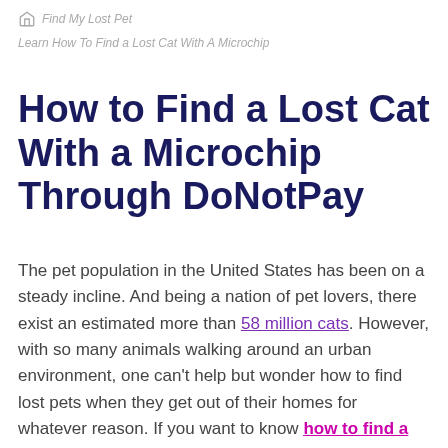Find My Lost Pet
Learn How To Find a Lost Cat With A Microchip
How to Find a Lost Cat With a Microchip Through DoNotPay
The pet population in the United States has been on a steady incline. And being a nation of pet lovers, there exist an estimated more than 58 million cats. However, with so many animals walking around an urban environment, one can't help but wonder how to find lost pets when they get out of their homes for whatever reason. If you want to know how to find a